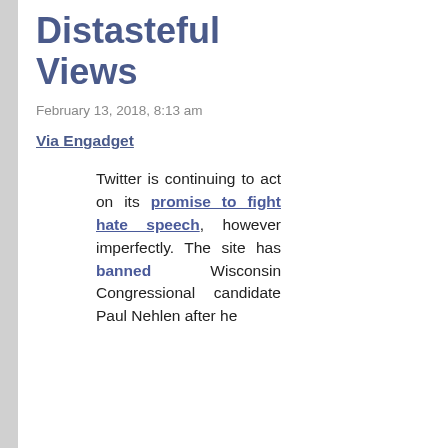Distasteful Views
February 13, 2018, 8:13 am
Via Engadget
Twitter is continuing to act on its promise to fight hate speech, however imperfectly. The site has banned Wisconsin Congressional candidate Paul Nehlen after he